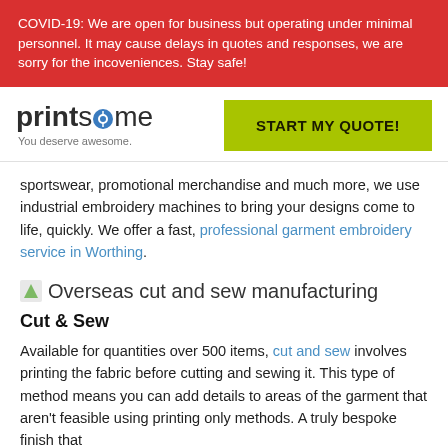COVID-19: We are open for business but operating under minimal personnel. It may cause delays in quotes and responses, we are sorry for the incoveniences. Stay safe!
[Figure (logo): Printsome logo with tshirt icon, tagline: You deserve awesome.]
START MY QUOTE!
sportswear, promotional merchandise and much more, we use industrial embroidery machines to bring your designs come to life, quickly. We offer a fast, professional garment embroidery service in Worthing.
Overseas cut and sew manufacturing
Cut & Sew
Available for quantities over 500 items, cut and sew involves printing the fabric before cutting and sewing it. This type of method means you can add details to areas of the garment that aren't feasible using printing only methods. A truly bespoke finish that